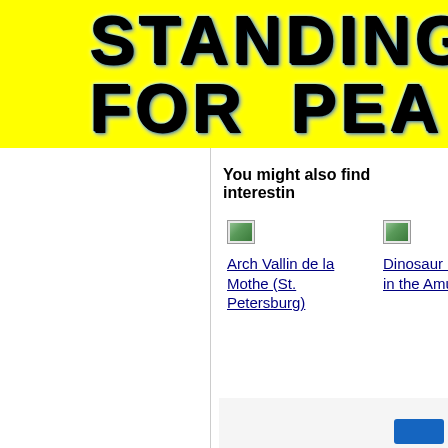[Figure (screenshot): Yellow banner header with bold dark blue lightning-styled text reading 'STANDING FOR PEA...' (text cropped at right edge)]
You might also find interestin...
[Figure (photo): Small broken image placeholder icon]
Arch Vallin de la Mothe (St. Petersburg)
[Figure (photo): Small broken image placeholder icon]
Dinosaur Cemetery in the Amur Region
[Figure (photo): Small broken image placeholder icon (partially visible, cropped at right)]
D N M K T (partially visible, cropped at right)